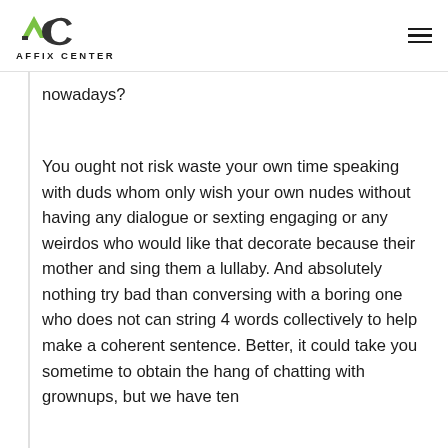AFFIX CENTER
nowadays?
You ought not risk waste your own time speaking with duds whom only wish your own nudes without having any dialogue or sexting engaging or any weirdos who would like that decorate because their mother and sing them a lullaby. And absolutely nothing try bad than conversing with a boring one who does not can string 4 words collectively to help make a coherent sentence. Better, it could take you sometime to obtain the hang of chatting with grownups, but we have ten